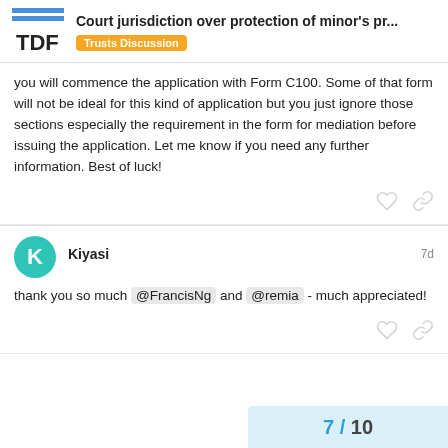Court jurisdiction over protection of minor's pr... | Trusts Discussion
you will commence the application with Form C100. Some of that form will not be ideal for this kind of application but you just ignore those sections especially the requirement in the form for mediation before issuing the application. Let me know if you need any further information. Best of luck!
Kiyasi - 7d
thank you so much @FrancisNg and @remia - much appreciated!
7 / 10